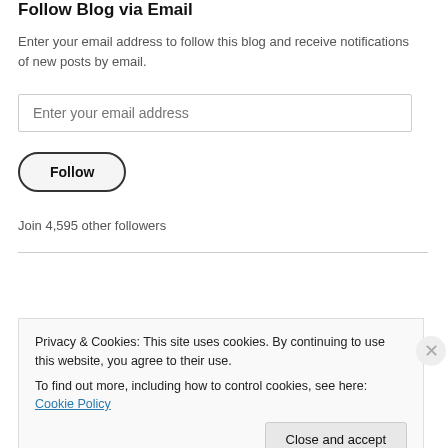Follow Blog via Email
Enter your email address to follow this blog and receive notifications of new posts by email.
Enter your email address
Follow
Join 4,595 other followers
RSS - Posts
RSS - Comments
Privacy & Cookies: This site uses cookies. By continuing to use this website, you agree to their use.
To find out more, including how to control cookies, see here: Cookie Policy
Close and accept